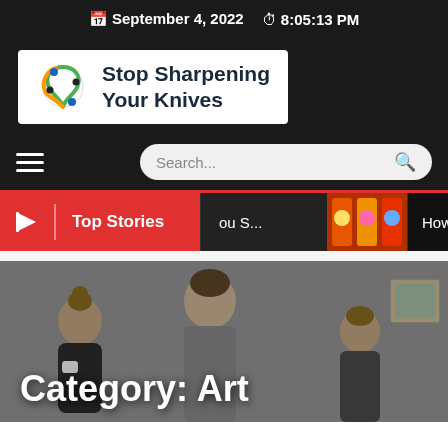September 4, 2022  8:05:13 PM
[Figure (logo): Stop Sharpening Your Knives logo with infinity-knot symbol]
Search...
Top Stories
ou S...
How to Mak
Category: Art